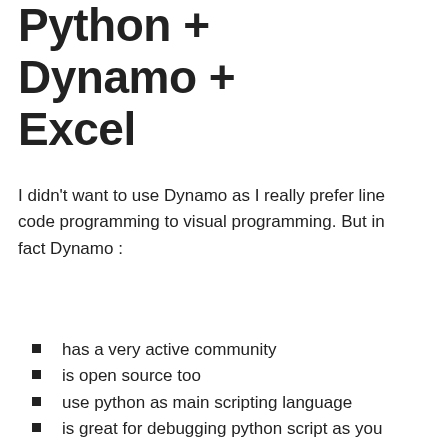Python + Dynamo + Excel
I didn't want to use Dynamo as I really prefer line code programming to visual programming. But in fact Dynamo :
has a very active community
is open source too
use python as main scripting language
is great for debugging python script as you don't need to include every single line in a try/except block
is much user friendly than as it is now included with Revit 2017.1 and by the way this new Dynamo Player makes it usable by anyone
scare many people less than line code so they can easily modify to adapt it to their